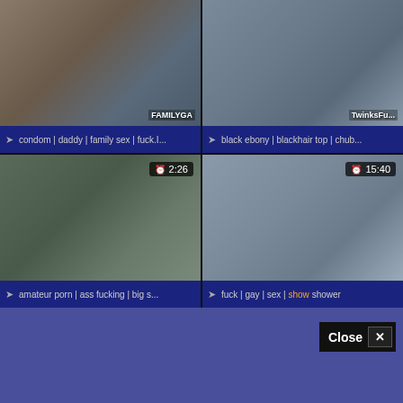[Figure (screenshot): Video thumbnail grid showing 4 adult video thumbnails with tag bars and duration badges]
condom | daddy | family sex | fuck.I...
black ebony | blackhair top | chub...
amateur porn | ass fucking | big s...
fuck | gay | sex | show shower
Close X